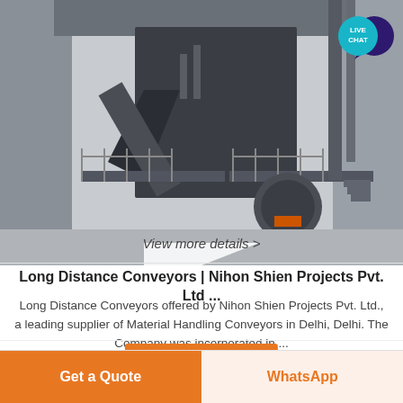[Figure (photo): Industrial conveyor system machinery in a factory setting, showing large metal conveyor structure with walkways, railings, and industrial equipment.]
View more details >
Long Distance Conveyors | Nihon Shien Projects Pvt. Ltd ...
Long Distance Conveyors offered by Nihon Shien Projects Pvt. Ltd., a leading supplier of Material Handling Conveyors in Delhi, Delhi. The Company was incorporated in ...
Get Price
Get a Quote
WhatsApp